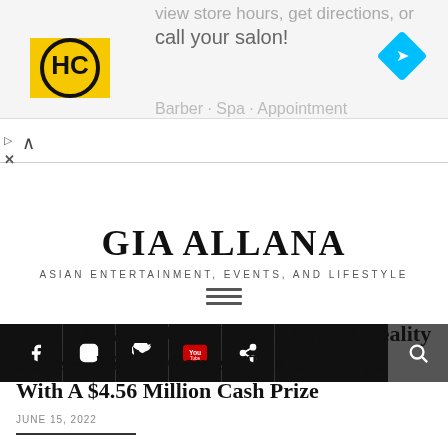[Figure (screenshot): Ad banner with HC logo and text 'view store hours, get directions, or call your salon!']
GIA ALLANA — ASIAN ENTERTAINMENT, EVENTS, AND LIFESTYLE
Here's How To Join Netflix's Biggest Reality Series—"Squid Game": The Challenge With A $4.56 Million Cash Prize
JUNE 15, 2022